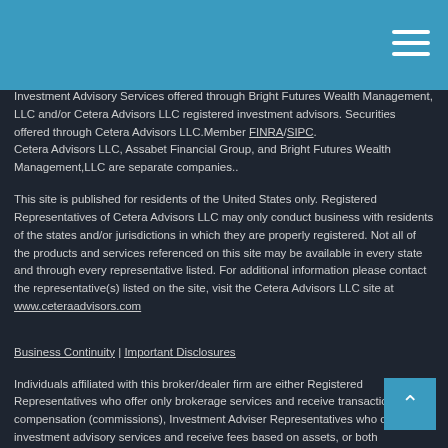Investment Advisory Services offered through Bright Futures Wealth Management, LLC and/or Cetera Advisors LLC registered investment advisors. Securities offered through Cetera Advisors LLC.Member FINRA/SIPC. Cetera Advisors LLC, Assabet Financial Group, and Bright Futures Wealth Management,LLC are separate companies..
This site is published for residents of the United States only. Registered Representatives of Cetera Advisors LLC may only conduct business with residents of the states and/or jurisdictions in which they are properly registered. Not all of the products and services referenced on this site may be available in every state and through every representative listed. For additional information please contact the representative(s) listed on the site, visit the Cetera Advisors LLC site at www.ceteraadvisors.com
Business Continuity | Important Disclosures
Individuals affiliated with this broker/dealer firm are either Registered Representatives who offer only brokerage services and receive transaction-based compensation (commissions), Investment Adviser Representatives who offer only investment advisory services and receive fees based on assets, or both Registered Representatives and Investment Adviser Representatives, who can offer both types of services.